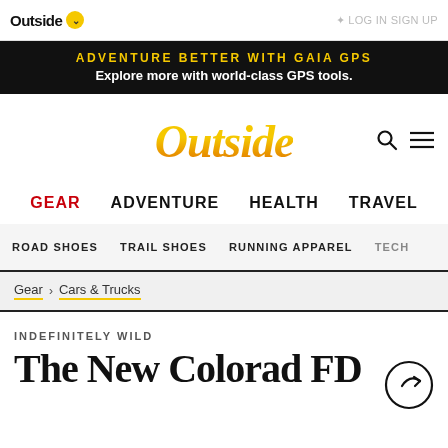Outside
ADVENTURE BETTER WITH GAIA GPS — Explore more with world-class GPS tools.
Outside
GEAR | ADVENTURE | HEALTH | TRAVEL
ROAD SHOES | TRAIL SHOES | RUNNING APPAREL | TECH
Gear > Cars & Trucks
INDEFINITELY WILD
The New Colorado FD...